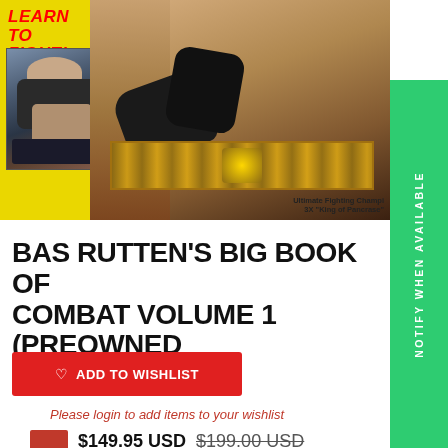[Figure (photo): Book cover of Bas Rutten's Big Book of Combat Volume 1. Yellow background with text 'LEARN TO FIGHT!' in red italic, an inset wrestling/grappling photo on the left, a main fighter with black gloves and championship belt on the right, and text 'APO' in the top right corner. Bottom right says 'Ultimate Fighting Champi' and '3X King of Pancrase'.]
BAS RUTTEN'S BIG BOOK OF COMBAT VOLUME 1 (PREOWNED
ADD TO WISHLIST
Please login to add items to your wishlist
$149.95 USD  $199.00 USD